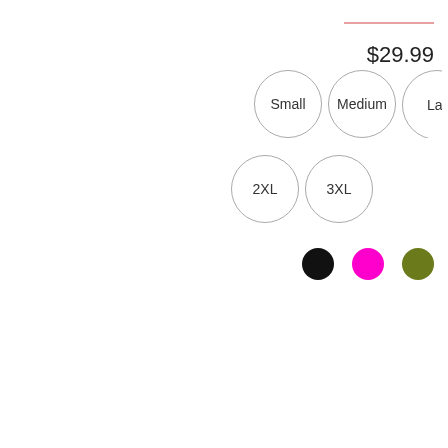$29.99
[Figure (infographic): Size selector buttons: Small, Medium, Large (partially visible), 2XL, 3XL shown as circular bordered buttons. Color swatches: black, magenta/pink, olive green circles.]